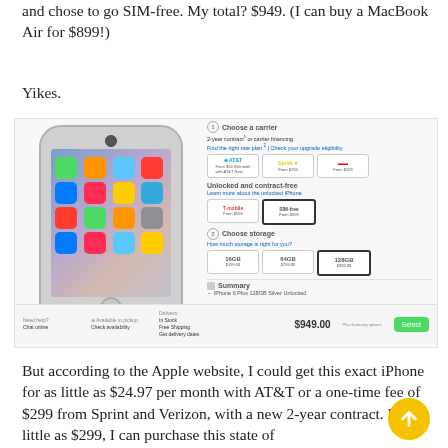and chose to go SIM-free. My total? $949. (I can buy a MacBook Air for $899!)
Yikes.
[Figure (screenshot): Screenshot of Apple website showing iPhone 6 Plus 128GB Silver Unlocked purchase page with carrier options (AT&T, Sprint, Verizon), SIM-free option selected, storage options (16GB, 64GB, 128GB selected), summary showing iPhone 6 Plus 128GB Silver Unlocked, and bottom bar showing $949.00 price with Select button. Left side shows iPhone 6 Plus product image.]
But according to the Apple website, I could get this exact iPhone for as little as $24.97 per month with AT&T or a one-time fee of $299 from Sprint and Verizon, with a new 2-year contract. For as little as $299, I can purchase this state of